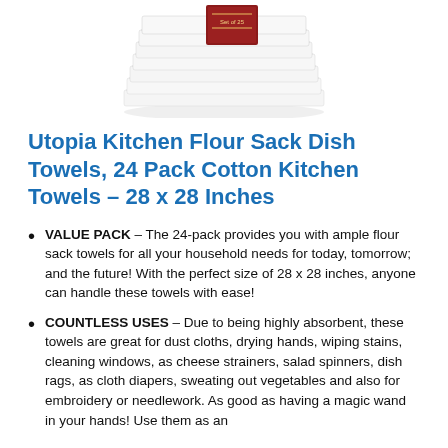[Figure (photo): Stack of white flour sack kitchen towels with a red label on top, photographed from a slightly elevated angle against a white background.]
Utopia Kitchen Flour Sack Dish Towels, 24 Pack Cotton Kitchen Towels – 28 x 28 Inches
VALUE PACK – The 24-pack provides you with ample flour sack towels for all your household needs for today, tomorrow; and the future! With the perfect size of 28 x 28 inches, anyone can handle these towels with ease!
COUNTLESS USES – Due to being highly absorbent, these towels are great for dust cloths, drying hands, wiping stains, cleaning windows, as cheese strainers, salad spinners, dish rags, as cloth diapers, sweating out vegetables and also for embroidery or needlework. As good as having a magic wand in your hands! Use them as an